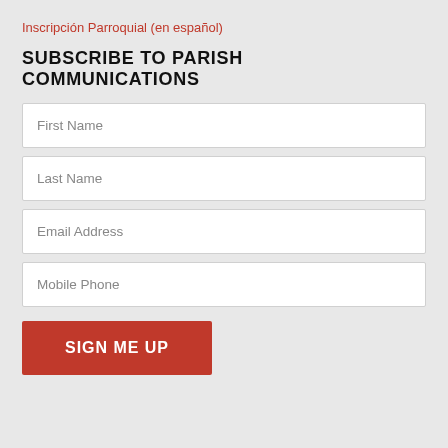Inscripción Parroquial (en español)
SUBSCRIBE TO PARISH COMMUNICATIONS
First Name
Last Name
Email Address
Mobile Phone
SIGN ME UP